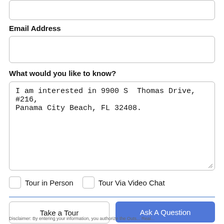[Input field - top, partial]
Email Address
[Email input field]
What would you like to know?
I am interested in 9900 S  Thomas Drive, #216, Panama City Beach, FL 32408.
Tour in Person
Tour Via Video Chat
Take a Tour
Ask A Question
Disclaimer: By entering your information, you authorize the Outs... Real...